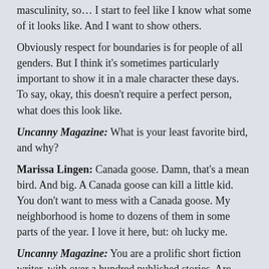masculinity, so… I start to feel like I know what some of it looks like. And I want to show others.
Obviously respect for boundaries is for people of all genders. But I think it's sometimes particularly important to show it in a male character these days. To say, okay, this doesn't require a perfect person, what does this look like.
Uncanny Magazine: What is your least favorite bird, and why?
Marissa Lingen: Canada goose. Damn, that's a mean bird. And big. A Canada goose can kill a little kid. You don't want to mess with a Canada goose. My neighborhood is home to dozens of them in some parts of the year. I love it here, but: oh lucky me.
Uncanny Magazine: You are a prolific short fiction writer, with over a hundred published stories. Are there themes or ideas that you return to repeatedly in your work? Are there things you haven't explored yet, but hope to in the future?
Marissa Lingen: Oh yes. I hope so, on both counts. There are long-term things like family and memory. There are more recent explorations on collaborative romance/collaborative partnership.